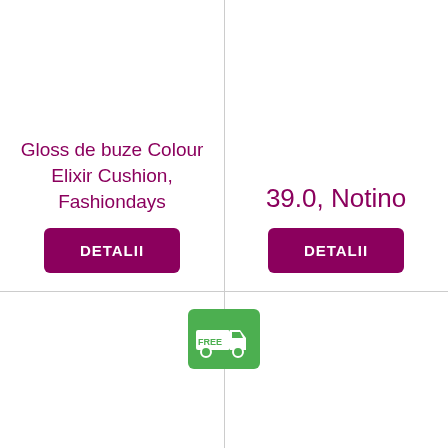Gloss de buze Colour Elixir Cushion, Fashiondays
DETALII
39.0, Notino
DETALII
[Figure (illustration): Green badge with truck and FREE text indicating free delivery]